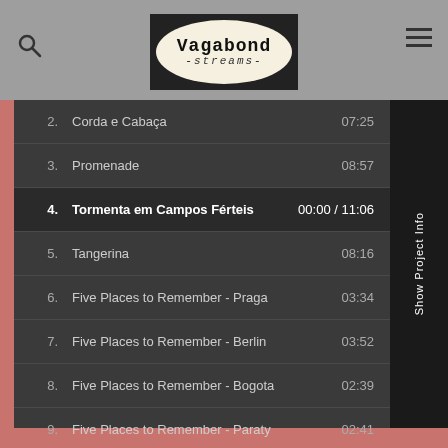[Figure (logo): Vagabond Streams logo — oval shape on dark background with typewriter-style text]
2. Corda e Cabaça  07:25
3. Promenade  08:57
4. Tormenta em Campos Férteis  00:00 / 11:06
5. Tangerina  08:16
6. Five Places to Remember - Praga  03:34
7. Five Places to Remember - Berlin  03:52
8. Five Places to Remember - Bogota  02:39
9. Five Places to Remember - Paraty  02:41
10. Five Places to Remember - Bruxelas  04:15
Show Project Info